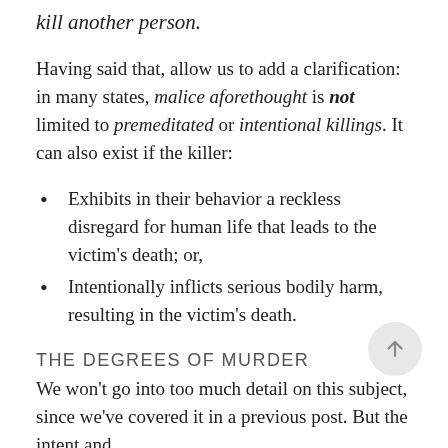kill another person.
Having said that, allow us to add a clarification: in many states, malice aforethought is not limited to premeditated or intentional killings. It can also exist if the killer:
Exhibits in their behavior a reckless disregard for human life that leads to the victim’s death; or,
Intentionally inflicts serious bodily harm, resulting in the victim’s death.
THE DEGREES OF MURDER
We won’t go into too much detail on this subject, since we’ve covered it in a previous post. But the intent and